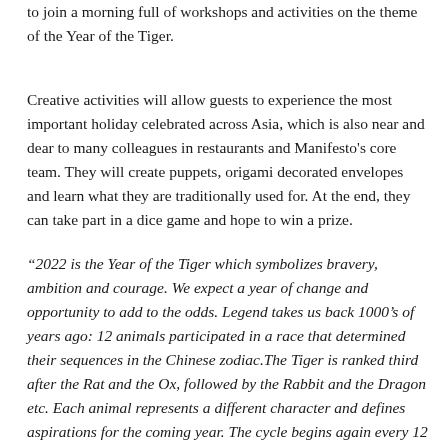to join a morning full of workshops and activities on the theme of the Year of the Tiger.
Creative activities will allow guests to experience the most important holiday celebrated across Asia, which is also near and dear to many colleagues in restaurants and Manifesto's core team. They will create puppets, origami decorated envelopes and learn what they are traditionally used for. At the end, they can take part in a dice game and hope to win a prize.
“2022 is the Year of the Tiger which symbolizes bravery, ambition and courage. We expect a year of change and opportunity to add to the odds. Legend takes us back 1000’s of years ago: 12 animals participated in a race that determined their sequences in the Chinese zodiac.The Tiger is ranked third after the Rat and the Ox, followed by the Rabbit and the Dragon etc. Each animal represents a different character and defines aspirations for the coming year. The cycle begins again every 12 years”, shares Mandy Kwan, Manifesto’s expansion